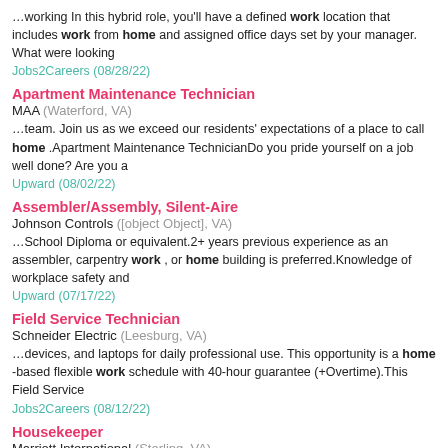…working In this hybrid role, you'll have a defined work location that includes work from home and assigned office days set by your manager. What were looking
Jobs2Careers (08/28/22)
Apartment Maintenance Technician
MAA (Waterford, VA)
…team. Join us as we exceed our residents' expectations of a place to call home .Apartment Maintenance TechnicianDo you pride yourself on a job well done? Are you a
Upward (08/02/22)
Assembler/Assembly, Silent-Aire
Johnson Controls ([object Object], VA)
…School Diploma or equivalent.2+ years previous experience as an assembler, carpentry work , or home building is preferred.Knowledge of workplace safety and
Upward (07/17/22)
Field Service Technician
Schneider Electric (Leesburg, VA)
…devices, and laptops for daily professional use. This opportunity is a home -based flexible work schedule with 40-hour guarantee (+Overtime).This Field Service
Jobs2Careers (08/12/22)
Housekeeper
Marriott International (Sterling, VA)
…Number 22124101Job Category Housekeeping & LaundryLocation Residence Inn Dulles Airport at Dulles 28 Centre, 45250 Monterey Place, Dulles, Virginia, United States
Upward (07/06/22)